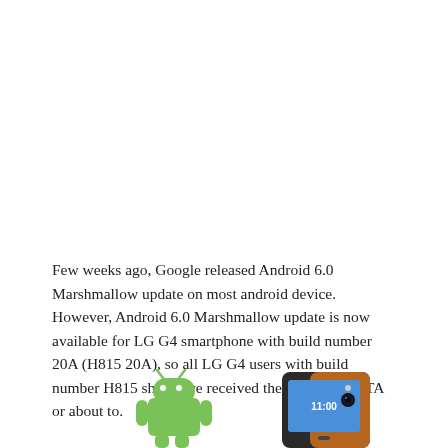Few weeks ago, Google released Android 6.0 Marshmallow update on most android device. However, Android 6.0 Marshmallow update is now available for LG G4 smartphone with build number 20A (H815 20A), so all LG G4 users with build number H815 should've received the update via OTA or about to.
[Figure (photo): Android mascot (green robot) on the left and LG G4 smartphone with brown leather back on the right, partially visible at the bottom of the page.]